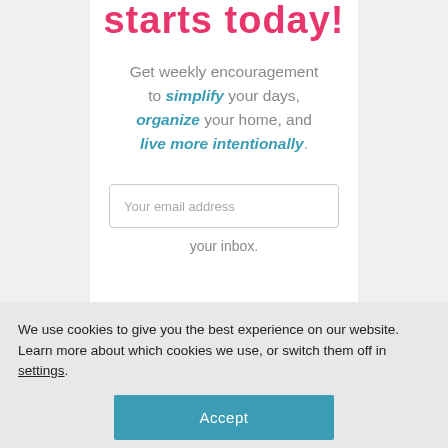starts today!
Get weekly encouragement to simplify your days, organize your home, and live more intentionally.
your inbox.
We use cookies to give you the best experience on our website.
Learn more about which cookies we use, or switch them off in settings.